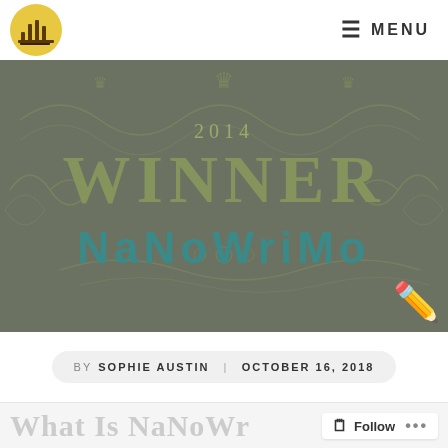MENU
[Figure (illustration): NaNoWriMo 2014 Winner banner image on dark olive/grey background with decorative scrollwork. Large ornate text reads 'WINNER' in gold/olive, year '2014' above it, and 'NaNoWriMo' in teal below. Pencil emoji in bottom right corner.]
BY SOPHIE AUSTIN   OCTOBER 16, 2018
What Is NaNoWr...